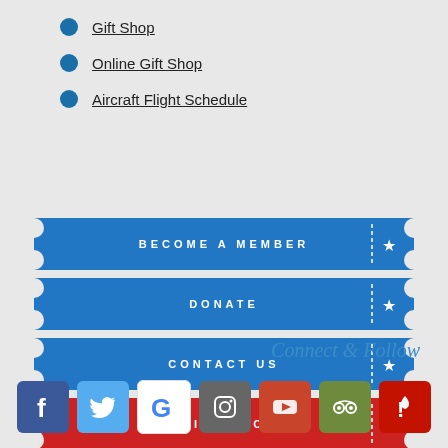Gift Shop
Online Gift Shop
Aircraft Flight Schedule
[Figure (infographic): Four ticket-shaped buttons: BECOME A MEMBER (blue), DONATE (blue), CONTACT US (blue), ONLINE STORE (red), each with a dashed vertical line and star on the right side]
Connect & Follow
[Figure (infographic): Row of 7 social media icons: Facebook (blue), Twitter (light blue), Google (white/multicolor), Instagram (gray), YouTube (red-orange), TripAdvisor (olive green), Yelp (red)]